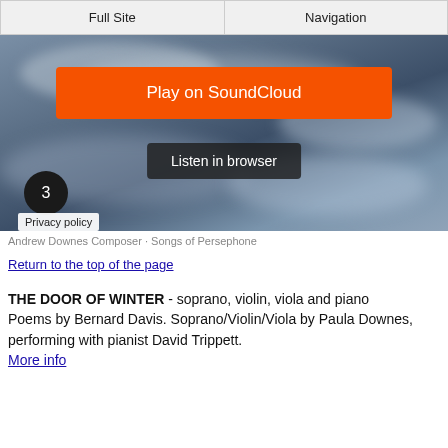Full Site | Navigation
[Figure (screenshot): SoundCloud embedded player with sky/clouds background. Orange 'Play on SoundCloud' button, dark 'Listen in browser' button, number 3 circle badge, Privacy policy tag.]
Andrew Downes Composer · Songs of Persephone
Return to the top of the page
THE DOOR OF WINTER - soprano, violin, viola and piano
Poems by Bernard Davis. Soprano/Violin/Viola by Paula Downes, performing with pianist David Trippett.
More info